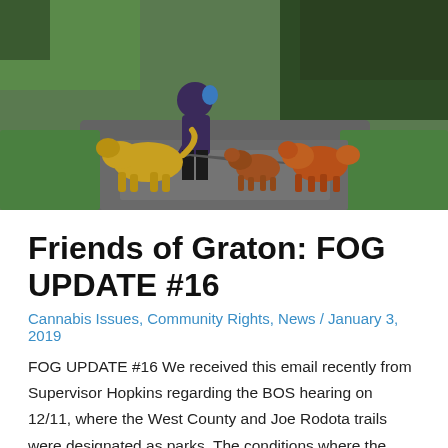[Figure (photo): An elderly person bending down toward a golden retriever dog on a paved path, with two smaller reddish-brown dogs on leashes nearby. Green grass and trees in the background.]
Friends of Graton: FOG UPDATE #16
Cannabis Issues, Community Rights, News / January 3, 2019
FOG UPDATE #16 We received this email recently from Supervisor Hopkins regarding the BOS hearing on 12/11, where the West County and Joe Rodota trails were designated as parks. The conditions where the 1000' setback to parks could be